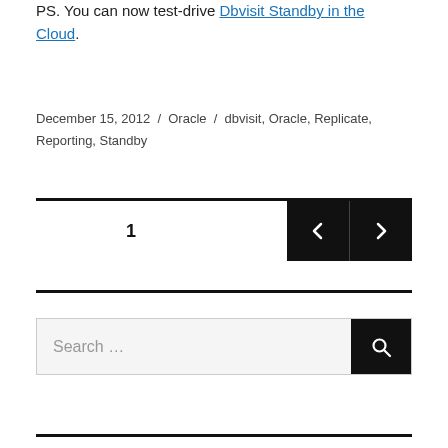PS. You can now test-drive Dbvisit Standby in the Cloud.
December 15, 2012 / Oracle / dbvisit, Oracle, Replicate, Reporting, Standby
1
[Figure (other): Pagination navigation bar with a '1' page number on the left and two black square arrow buttons (left arrow and right arrow) on the right]
[Figure (other): Search bar with placeholder text 'Search ...' and a black search button with magnifying glass icon on the right]